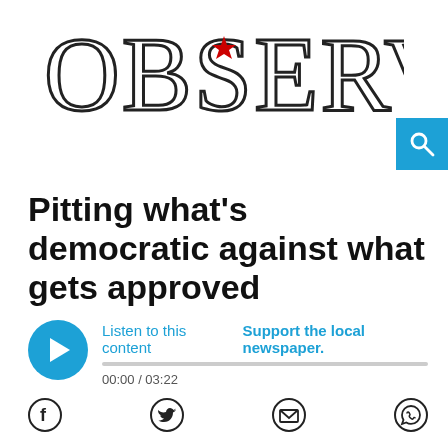OBSERVER
Pitting what's democratic against what gets approved
Listen to this content   Support the local newspaper.
00:00 / 03:22
[Figure (infographic): Facebook, Twitter, Email, and WhatsApp share icons in a row]